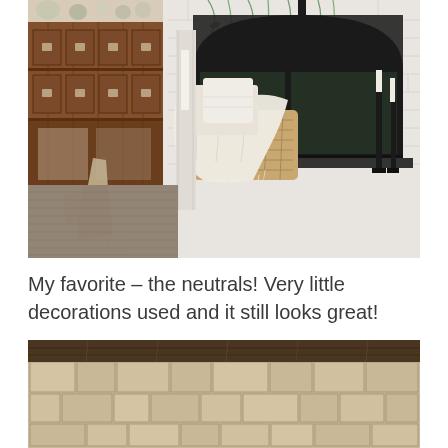[Figure (photo): Interior room scene with white painted brick fireplace, wicker chair with cream throw blanket and pillows, rustic wooden cabinet with drawer pulls on left, hanging greenery above fireplace, tall black candle holders on the right hearth, and decorative wooden pieces on the floor.]
My favorite – the neutrals! Very little decorations used and it still looks great!
[Figure (photo): Close-up view of a stone or tile fireplace surround with a beige/tan mosaic tile pattern, dark wood beam mantel visible at the top, against a white wall.]